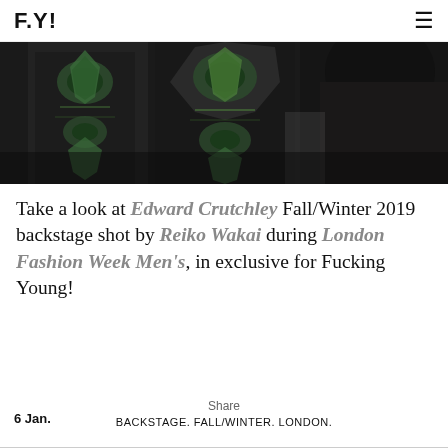F.Y!
[Figure (photo): Backstage fashion photo from Edward Crutchley Fall/Winter 2019 show during London Fashion Week Men's, showing models in dark ornate patterned garments]
Take a look at Edward Crutchley Fall/Winter 2019 backstage shot by Reiko Wakai during London Fashion Week Men's, in exclusive for Fucking Young!
6 Jan.  Share  BACKSTAGE. FALL/WINTER. LONDON.